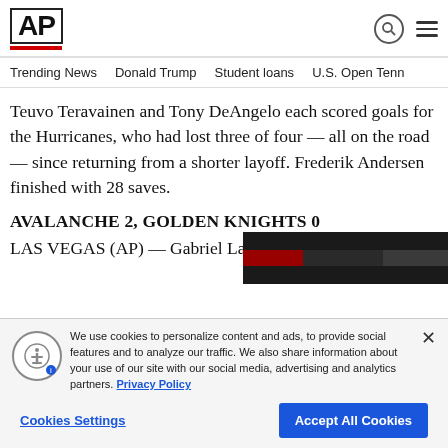AP
Trending News | Donald Trump | Student loans | U.S. Open Tenn
Teuvo Teravainen and Tony DeAngelo each scored goals for the Hurricanes, who had lost three of four — all on the road — since returning from a shorter layoff. Frederik Andersen finished with 28 saves.
AVALANCHE 2, GOLDEN KNIGHTS 0
LAS VEGAS (AP) — Gabriel Lan...
We use cookies to personalize content and ads, to provide social features and to analyze our traffic. We also share information about your use of our site with our social media, advertising and analytics partners. Privacy Policy
Cookies Settings | Accept All Cookies